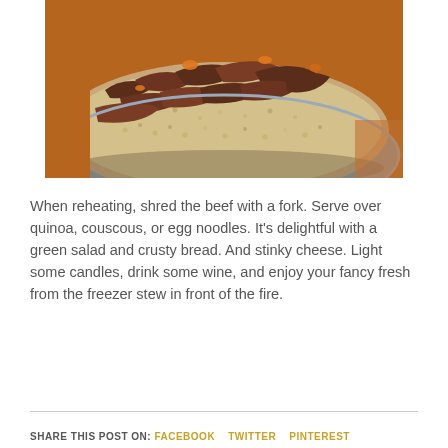[Figure (photo): Close-up photo of a bowl containing beef stew served over quinoa, with shredded meat and vegetables visible on top. The bowl has a blue-grey ceramic glaze and sits on a warm orange/brown surface.]
When reheating, shred the beef with a fork.  Serve over quinoa, couscous, or egg noodles.  It's delightful with a green salad and crusty bread.  And stinky cheese.  Light some candles, drink some wine, and enjoy your fancy fresh from the freezer stew in front of the fire.
SHARE THIS POST ON: FACEBOOK   TWITTER   PINTEREST